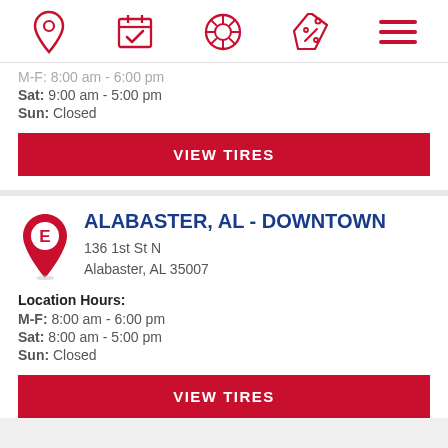[Figure (screenshot): Top navigation bar with 5 icons: location pin, calendar with checkmark, tire/wheel, price tag with percent, and hamburger menu lines — all in red outline style]
M-F: 8:00 am - 6:00 pm (partially obscured)
Sat: 9:00 am - 5:00 pm
Sun: Closed
VIEW TIRES
ALABASTER, AL - DOWNTOWN
136 1st St N
Alabaster, AL 35007
Location Hours:
M-F: 8:00 am - 6:00 pm
Sat: 8:00 am - 5:00 pm
Sun: Closed
VIEW TIRES